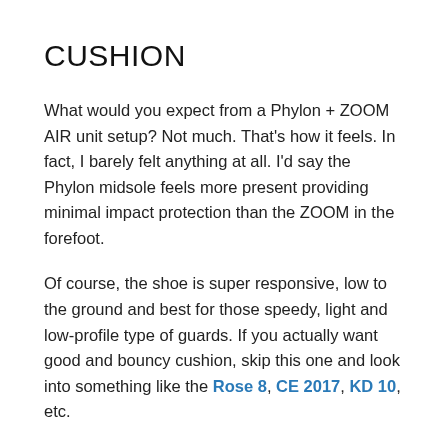CUSHION
What would you expect from a Phylon + ZOOM AIR unit setup? Not much. That's how it feels. In fact, I barely felt anything at all. I'd say the Phylon midsole feels more present providing minimal impact protection than the ZOOM in the forefoot.
Of course, the shoe is super responsive, low to the ground and best for those speedy, light and low-profile type of guards. If you actually want good and bouncy cushion, skip this one and look into something like the Rose 8, CE 2017, KD 10, etc.